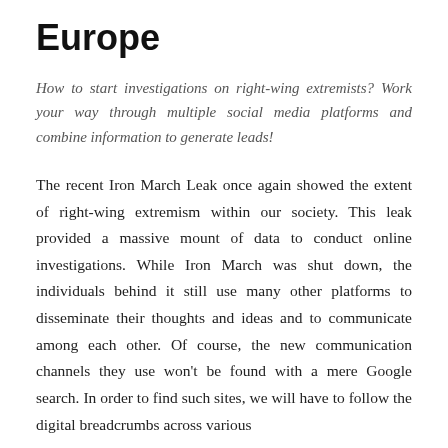Europe
How to start investigations on right-wing extremists? Work your way through multiple social media platforms and combine information to generate leads!
The recent Iron March Leak once again showed the extent of right-wing extremism within our society. This leak provided a massive mount of data to conduct online investigations. While Iron March was shut down, the individuals behind it still use many other platforms to disseminate their thoughts and ideas and to communicate among each other. Of course, the new communication channels they use won't be found with a mere Google search. In order to find such sites, we will have to follow the digital breadcrumbs across various